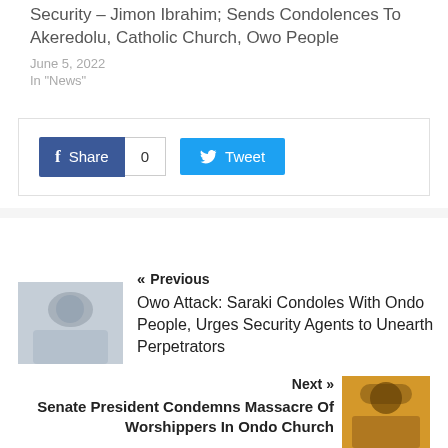Security – Jimon Ibrahim; Sends Condolences To Akeredolu, Catholic Church, Owo People
June 5, 2022
In "News"
[Figure (screenshot): Facebook Share button with count 0 and Twitter Tweet button]
[Figure (photo): Photo of a man in white shirt - previous article thumbnail]
« Previous
Owo Attack: Saraki Condoles With Ondo People, Urges Security Agents to Unearth Perpetrators
Next »
Senate President Condemns Massacre Of Worshippers In Ondo Church
[Figure (photo): Photo of a man in traditional attire with face mask - next article thumbnail]